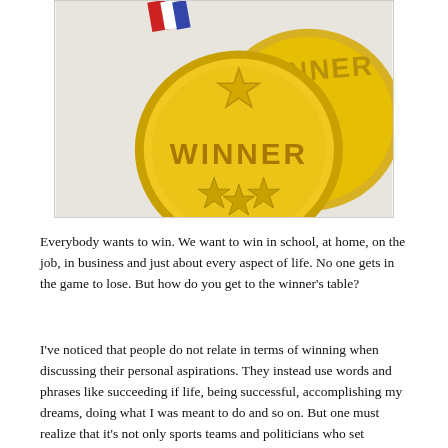[Figure (photo): Close-up photo of gold medal coins engraved with the word WINNER and star decorations, with a red and blue ribbon visible at the top left.]
Everybody wants to win. We want to win in school, at home, on the job, in business and just about every aspect of life. No one gets in the game to lose. But how do you get to the winner's table?
I've noticed that people do not relate in terms of winning when discussing their personal aspirations. They instead use words and phrases like succeeding if life, being successful, accomplishing my dreams, doing what I was meant to do and so on. But one must realize that it's not only sports teams and politicians who set